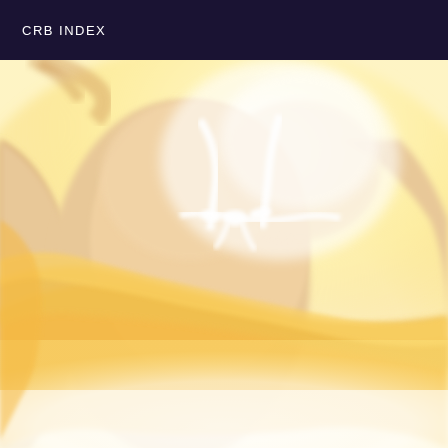CRB INDEX
[Figure (photo): A soft-focus, overexposed photograph of a person wearing a yellow top and a white bikini/bra with a bow tie detail at the center back. The image is warmly lit with glowing whites and golden yellows, showing the back and torso area. The background blends into white light.]